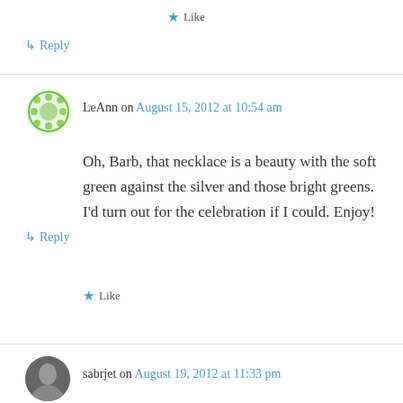★ Like
↳ Reply
LeAnn on August 15, 2012 at 10:54 am
Oh, Barb, that necklace is a beauty with the soft green against the silver and those bright greens. I'd turn out for the celebration if I could. Enjoy!
★ Like
↳ Reply
sabrjet on August 19, 2012 at 11:33 pm
Very nice necklace, Barb. I didn't see much of the stuff in the tent area, which is where I'd guess yours was? I haven't heard any financial details or answers